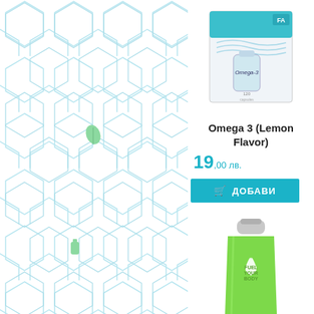[Figure (illustration): Left panel with hexagonal grid pattern background in light blue, with small green decorative icons (leaf and supplement bottle)]
[Figure (photo): Omega 3 Lemon Flavor supplement product box with FA branding, white and teal packaging]
Omega 3 (Lemon Flavor)
19,00 лв.
ДОБАВИ
[Figure (photo): Green Fuel Your Body shaker bottle with grey lid]